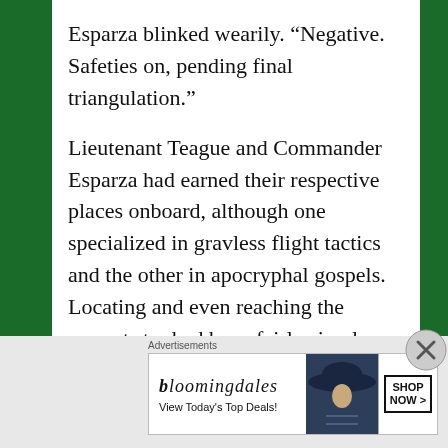Esparza blinked wearily. “Negative. Safeties on, pending final triangulation.”
Lieutenant Teague and Commander Esparza had earned their respective places onboard, although one specialized in gravless flight tactics and the other in apocryphal gospels. Locating and even reaching the correct star had been fairly simple once the proper assortment of physicists, theologians, astrologers and engineers could be coaxed into sharing notes in service of the common objective. Tracking relative visibility on habitable planetoids was trickier. To determine
Advertisements
[Figure (other): Bloomingdale's advertisement banner showing logo, 'View Today's Top Deals!' text, a woman wearing a large dark hat, and a 'SHOP NOW >' button.]